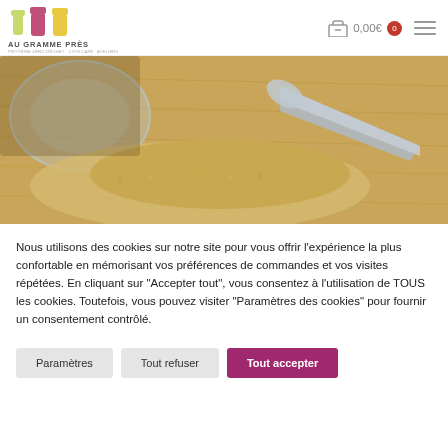AU GRAMME PRÈS — 0,00€ 0
[Figure (photo): Close-up photo of sesame seeds or similar grain being poured from a glass bowl with a metal scoop on a wooden surface]
Nous utilisons des cookies sur notre site pour vous offrir l'expérience la plus confortable en mémorisant vos préférences de commandes et vos visites répétées. En cliquant sur "Accepter tout", vous consentez à l'utilisation de TOUS les cookies. Toutefois, vous pouvez visiter "Paramètres des cookies" pour fournir un consentement contrôlé.
Paramètres
Tout refuser
Tout accepter